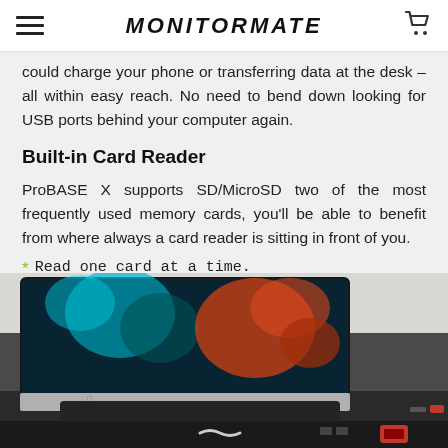MONITORMATE
could charge your phone or transferring data at the desk – all within easy reach. No need to bend down looking for USB ports behind your computer again.
Built-in Card Reader
ProBASE X supports SD/MicroSD two of the most frequently used memory cards, you'll be able to benefit from where always a card reader is sitting in front of you.
Read one card at a time.
[Figure (photo): Photo of an iMac computer sitting on a desk stand/hub (MonitorMate ProBASE X), showing the front of the hub with card reader slots and USB ports visible, with white wall background.]